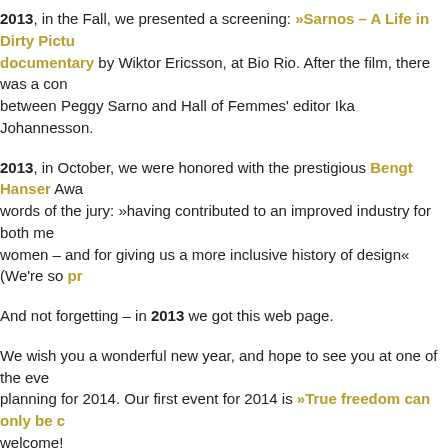2013, in the Fall, we presented a screening: »Sarnos – A Life in Dirty Pictu… documentary by Wiktor Ericsson, at Bio Rio. After the film, there was a con… between Peggy Sarno and Hall of Femmes' editor Ika Johannesson.
2013, in October, we were honored with the prestigious Bengt Hanser Awa… words of the jury: »having contributed to an improved industry for both me… women – and for giving us a more inclusive history of design« (We're so pr…
And not forgetting – in 2013 we got this web page.
We wish you a wonderful new year, and hope to see you at one of the eve… planning for 2014. Our first event for 2014 is »True freedom can only be c… welcome!